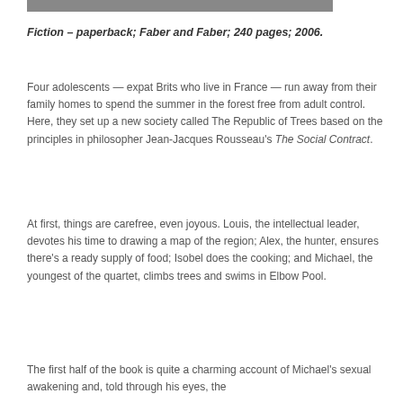[Figure (other): Dark grey horizontal bar at top of page]
Fiction – paperback; Faber and Faber; 240 pages; 2006.
Four adolescents — expat Brits who live in France — run away from their family homes to spend the summer in the forest free from adult control. Here, they set up a new society called The Republic of Trees based on the principles in philosopher Jean-Jacques Rousseau's The Social Contract.
At first, things are carefree, even joyous. Louis, the intellectual leader, devotes his time to drawing a map of the region; Alex, the hunter, ensures there's a ready supply of food; Isobel does the cooking; and Michael, the youngest of the quartet, climbs trees and swims in Elbow Pool.
The first half of the book is quite a charming account of Michael's sexual awakening and, told through his eyes, the